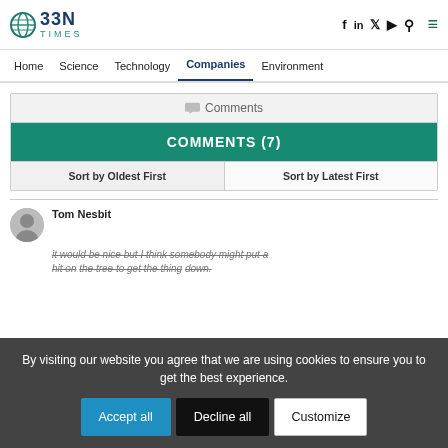BBN Times — Home | Science | Technology | Companies | Environment
Comments
COMMENTS (7)
Sort by Oldest First | Sort by Latest First
Tom Nesbit
it would be nice but I think somebody might put a hit on...the tree to get the thing down.
By visiting our website you agree that we are using cookies to ensure you to get the best experience.
Accept all | Decline all | Customize